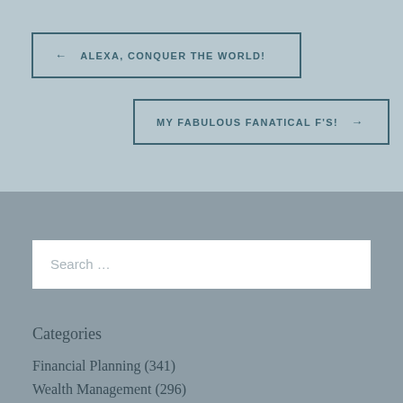← ALEXA, CONQUER THE WORLD!
MY FABULOUS FANATICAL F'S! →
Search ...
Categories
Financial Planning (341)
Wealth Management (296)
Investments (162)